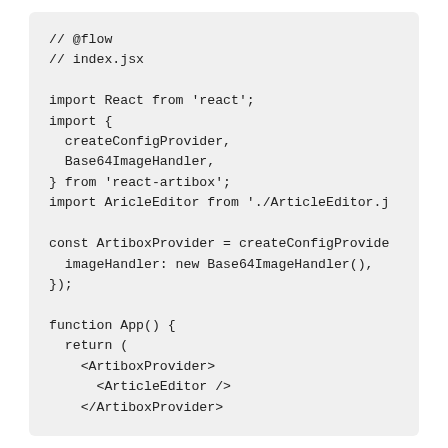// @flow
// index.jsx

import React from 'react';
import {
  createConfigProvider,
  Base64ImageHandler,
} from 'react-artibox';
import AricleEditor from './ArticleEditor.j

const ArtiboxProvider = createConfigProvide
  imageHandler: new Base64ImageHandler(),
});

function App() {
  return (
    <ArtiboxProvider>
      <ArticleEditor />
    </ArtiboxProvider>